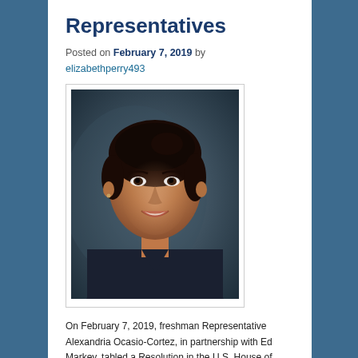Representatives
Posted on February 7, 2019 by elizabethperry493
[Figure (photo): Portrait photo of a young woman with dark hair pulled back, wearing a dark navy top, smiling against a dark blue-grey background.]
On February 7, 2019, freshman Representative Alexandria Ocasio-Cortez, in partnership with Ed Markey, tabled a Resolution in the U.S. House of Representatives,  titled, "Recognizing the Duty of the